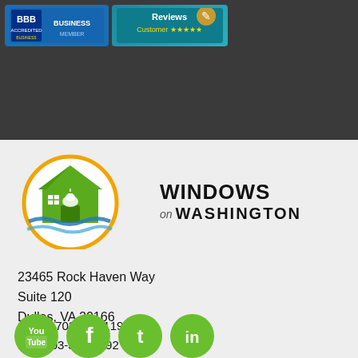[Figure (logo): BBB Business badge and Reviews Customer badge on dark header background]
[Figure (logo): Windows on Washington company logo — green house with capitol dome inside a circular orange/yellow arc, with blue wave, next to company name text]
23465 Rock Haven Way
Suite 120
Dulles, VA 20166
Office: 703-378-1190
Fax: 703-378-1192
[Figure (logo): Social media icons: YouTube, Facebook, Twitter, LinkedIn — all green circles with white icons]